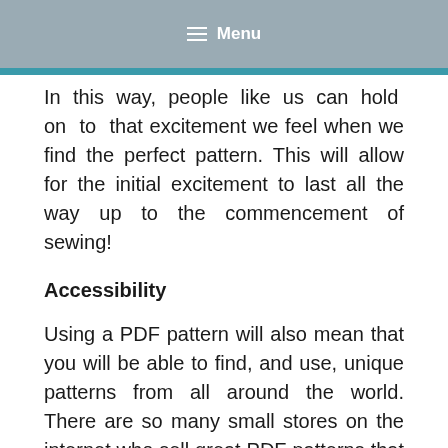Menu
In this way, people like us can hold on to that excitement we feel when we find the perfect pattern. This will allow for the initial excitement to last all the way up to the commencement of sewing!
Accessibility
Using a PDF pattern will also mean that you will be able to find, and use, unique patterns from all around the world. There are so many small stores on the internet who sell great PDF patterns that you wouldn't be able to find anywhere else. This will mean that you will be able to sew unique designs without the fear of running into someone with the